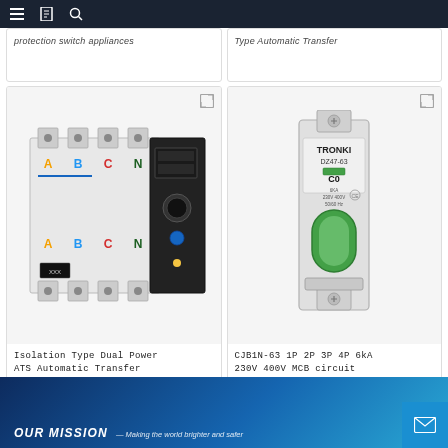Navigation bar with menu, bookmark, and search icons
protection switch appliances
Type Automatic Transfer
[Figure (photo): Isolation Type Dual Power ATS Automatic Transfer Switch with labeled A, B, C, N poles and control panel]
Isolation Type Dual Power ATS Automatic Transfer
[Figure (photo): TRONKI DZ47-63 CJB1N-63 1P 2P 3P 4P 6kA 230V 400V MCB circuit breaker with green toggle handle]
CJB1N-63 1P 2P 3P 4P 6kA 230V 400V MCB circuit
OUR MISSION — Making the world brighter and safer